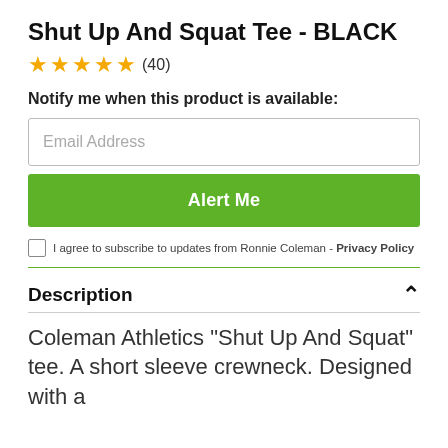Shut Up And Squat Tee - BLACK
★★★★★ (40)
Notify me when this product is available:
Email Address
Alert Me
I agree to subscribe to updates from Ronnie Coleman - Privacy Policy
Description
Coleman Athletics "Shut Up And Squat" tee. A short sleeve crewneck. Designed with a